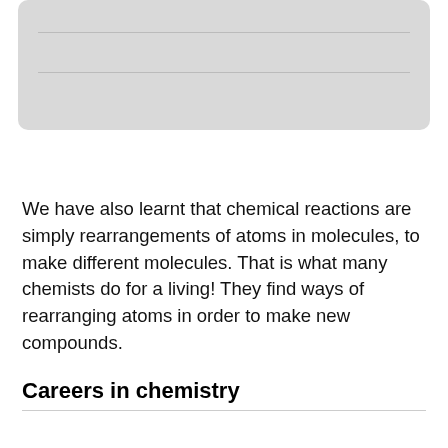[Figure (other): Gray rounded rectangle box with two horizontal lines inside, representing a partially visible content block from a previous section]
We have also learnt that chemical reactions are simply rearrangements of atoms in molecules, to make different molecules. That is what many chemists do for a living! They find ways of rearranging atoms in order to make new compounds.
Careers in chemistry
Not yet shown (cut off at bottom of page)